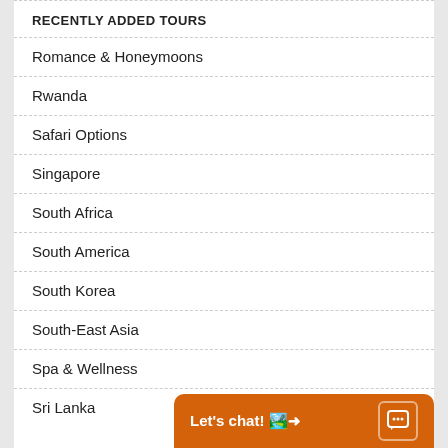RECENTLY ADDED TOURS
Romance & Honeymoons
Rwanda
Safari Options
Singapore
South Africa
South America
South Korea
South-East Asia
Spa & Wellness
Sri Lanka
[Figure (other): Live chat widget with orange background, text 'Let's chat!' with emoji and arrow, and chat icon on the right]